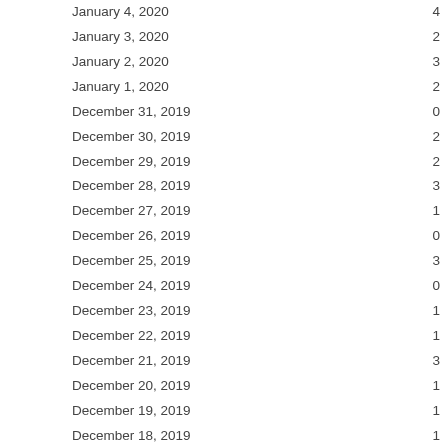| Date | Value |
| --- | --- |
| January 4, 2020 | 4 |
| January 3, 2020 | 2 |
| January 2, 2020 | 3 |
| January 1, 2020 | 2 |
| December 31, 2019 | 0 |
| December 30, 2019 | 2 |
| December 29, 2019 | 2 |
| December 28, 2019 | 3 |
| December 27, 2019 | 1 |
| December 26, 2019 | 0 |
| December 25, 2019 | 3 |
| December 24, 2019 | 0 |
| December 23, 2019 | 1 |
| December 22, 2019 | 1 |
| December 21, 2019 | 3 |
| December 20, 2019 | 1 |
| December 19, 2019 | 1 |
| December 18, 2019 | 1 |
| December 17, 2019 | 4 |
| December 16, 2019 | 2 |
| December 15, 2019 | 1 |
| December 14, 2019 | 1 |
| December 13, 2019 | 2 |
| December 12, 2019 | 3 |